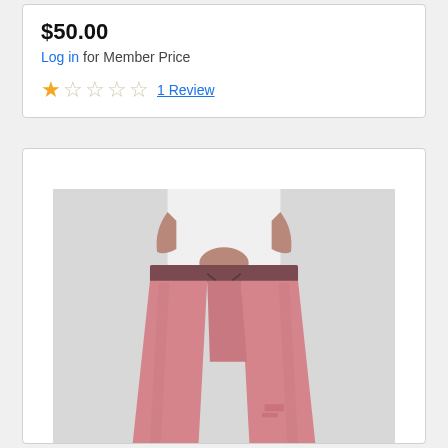$50.00
Log in for Member Price
★☆☆☆☆ 1 Review
[Figure (photo): Woman wearing pink jogger sweatpants with white top, standing against a light gray background. The pants are pink/mauve colored with an elastic waistband and drawstring.]